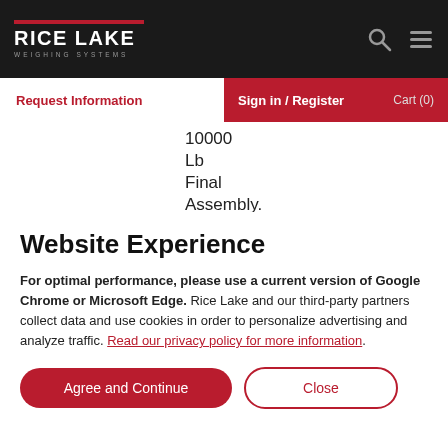Rice Lake Weighing Systems — navigation header with logo, search icon, menu icon
Request Information | Sign in / Register | Cart (0)
10000 Lb Final Assembly. Trans-Weigh CellScale
Website Experience
For optimal performance, please use a current version of Google Chrome or Microsoft Edge. Rice Lake and our third-party partners collect data and use cookies in order to personalize advertising and analyze traffic. Read our privacy policy for more information.
Agree and Continue | Close